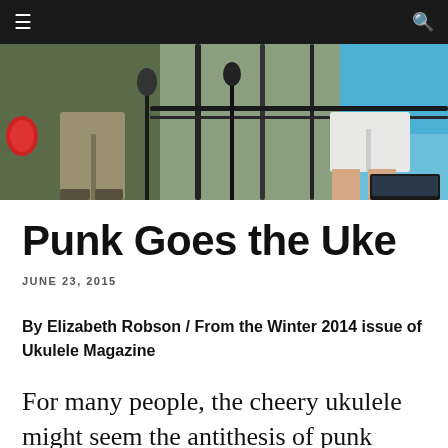≡   🔍
[Figure (photo): Cropped photo showing two people from the waist down, one in khaki pants and one in white shorts, standing near a glass railing with a tropical beach backdrop]
Punk Goes the Uke
JUNE 23, 2015
By Elizabeth Robson / From the Winter 2014 issue of Ukulele Magazine
For many people, the cheery ukulele might seem the antithesis of punk rock's loud, angry attitude, but to a growing number of punkers